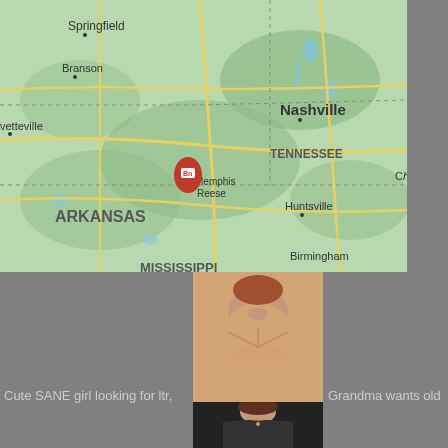[Figure (map): Google Maps view showing parts of Arkansas, Tennessee, Mississippi area with Memphis/Reese location pin marked with 'Bn' icon. Cities visible: Springfield, Branson, Fayetteville, Nashville, TENNESSEE, Huntsville, Birmingham, ARKANSAS, MISSISSIPPI, Memphis, Reese, Ch(attanooga)]
[Figure (photo): Partial photo of a woman in a beige bikini top]
[Figure (photo): Partial photo of a woman in dark clothing with necklace]
Cute SANE girl looking for ltr,
Grandma wants old